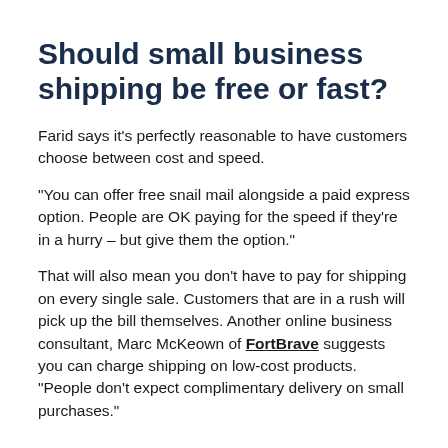Should small business shipping be free or fast?
Farid says it’s perfectly reasonable to have customers choose between cost and speed.
“You can offer free snail mail alongside a paid express option. People are OK paying for the speed if they’re in a hurry – but give them the option.”
That will also mean you don’t have to pay for shipping on every single sale. Customers that are in a rush will pick up the bill themselves. Another online business consultant, Marc McKeown of FortBrave suggests you can charge shipping on low-cost products. “People don’t expect complimentary delivery on small purchases.”